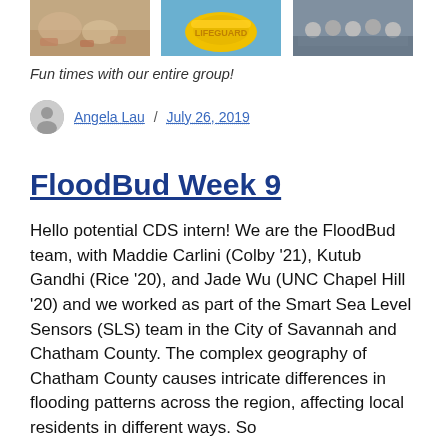[Figure (photo): Three cropped photos in a horizontal strip showing group beach/outdoor scenes: people on sand, a yellow flotation device, and a group of people outdoors.]
Fun times with our entire group!
Angela Lau / July 26, 2019
FloodBud Week 9
Hello potential CDS intern! We are the FloodBud team, with Maddie Carlini (Colby '21), Kutub Gandhi (Rice '20), and Jade Wu (UNC Chapel Hill '20) and we worked as part of the Smart Sea Level Sensors (SLS) team in the City of Savannah and Chatham County. The complex geography of Chatham County causes intricate differences in flooding patterns across the region, affecting local residents in different ways. So